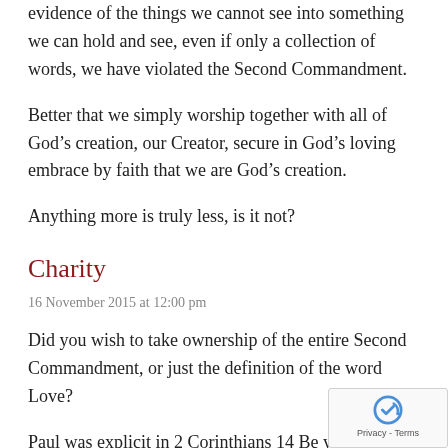evidence of the things we cannot see into something we can hold and see, even if only a collection of words, we have violated the Second Commandment.
Better that we simply worship together with all of God’s creation, our Creator, secure in God’s loving embrace by faith that we are God’s creation.
Anything more is truly less, is it not?
Charity
16 November 2015 at 12:00 pm
Did you wish to take ownership of the entire Second Commandment, or just the definition of the word Love?
Paul was explicit in 2 Corinthians 14 Be ye not unequally yoked together